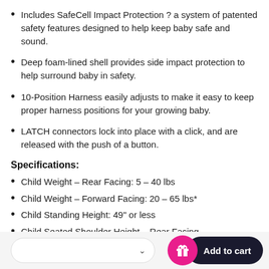Includes SafeCell Impact Protection ? a system of patented safety features designed to help keep baby safe and sound.
Deep foam-lined shell provides side impact protection to help surround baby in safety.
10-Position Harness easily adjusts to make it easy to keep proper harness positions for your growing baby.
LATCH connectors lock into place with a click, and are released with the push of a button.
Specifications:
Child Weight - Rear Facing: 5 - 40 lbs
Child Weight - Forward Facing: 20 - 65 lbs*
Child Standing Height: 49" or less
Child Seated Shoulder Height - Rear Facing